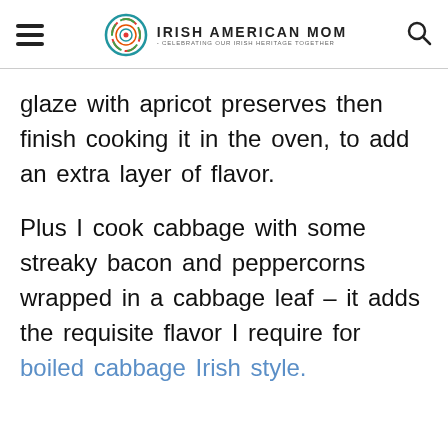Irish American Mom - Celebrating Our Irish Heritage Together
glaze with apricot preserves then finish cooking it in the oven, to add an extra layer of flavor.
Plus I cook cabbage with some streaky bacon and peppercorns wrapped in a cabbage leaf – it adds the requisite flavor I require for boiled cabbage Irish style.